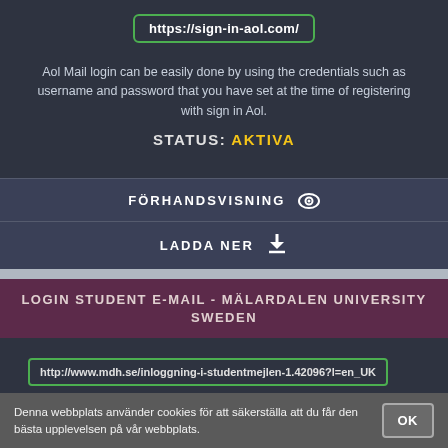https://sign-in-aol.com/
Aol Mail login can be easily done by using the credentials such as username and password that you have set at the time of registering with sign in Aol.
STATUS: AKTIVA
FÖRHANDSVISNING
LADDA NER
LOGIN STUDENT E-MAIL - MÄLARDALEN UNIVERSITY SWEDEN
http://www.mdh.se/inloggning-i-studentmejlen-1.42096?l=en_UK
25 Jun 2013 ... We have now synchronized login to student e-mail with MDHs directory ... (password) from the application Account,
Denna webbplats använder cookies för att säkerställa att du får den bästa upplevelsen på vår webbplats.